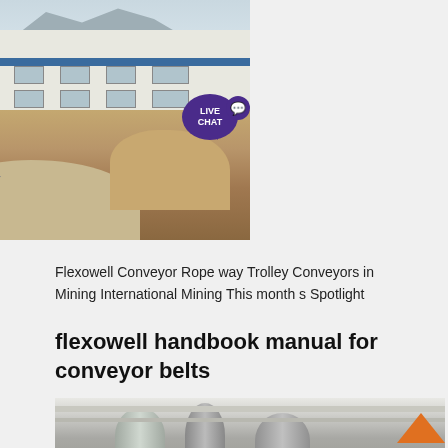[Figure (photo): Outdoor industrial mining site with a conveyor belt / inclined elevator structure carrying material. Large piles of aggregate/gravel visible in foreground and background. Industrial warehouse building with blue trim in background, mountains in far distance. A purple 'LIVE CHAT' bubble overlaid at top right.]
Flexowell Conveyor Rope way Trolley Conveyors in Mining International Mining This month s Spotlight
flexowell handbook manual for conveyor belts
[Figure (photo): Industrial interior showing large cylindrical pipes/ducts running along a ceiling in a warehouse or factory setting.]